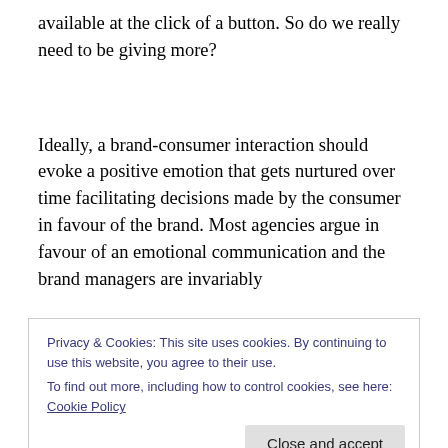available at the click of a button. So do we really need to be giving more?
Ideally, a brand-consumer interaction should evoke a positive emotion that gets nurtured over time facilitating decisions made by the consumer in favour of the brand. Most agencies argue in favour of an emotional communication and the brand managers are invariably
Privacy & Cookies: This site uses cookies. By continuing to use this website, you agree to their use.
To find out more, including how to control cookies, see here: Cookie Policy
stimulus and that the extent or depth of consumer reaction